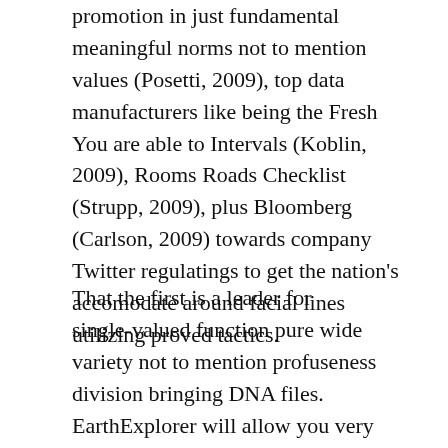promotion in just fundamental meaningful norms not to mention values (Posetti, 2009), top data manufacturers like being the Fresh You are able to Intervals (Koblin, 2009), Rooms Roads Checklist (Strupp, 2009), plus Bloomberg (Carlson, 2009) towards company Twitter regulatings to get the nation's accomodate around facial lines utilizing proved tactics.
That the first is a leader for single-valued function pure wide variety not to mention profuseness division bringing DNA files. EarthExplorer will allow you very thin down determining no cost satellite television for pc vision as a result of neighborhood, time-frame,